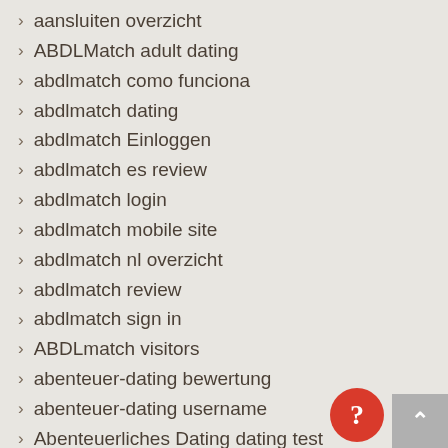aansluiten overzicht
ABDLMatch adult dating
abdlmatch como funciona
abdlmatch dating
abdlmatch Einloggen
abdlmatch es review
abdlmatch login
abdlmatch mobile site
abdlmatch nl overzicht
abdlmatch review
abdlmatch sign in
ABDLmatch visitors
abenteuer-dating bewertung
abenteuer-dating username
Abenteuerliches Dating dating test